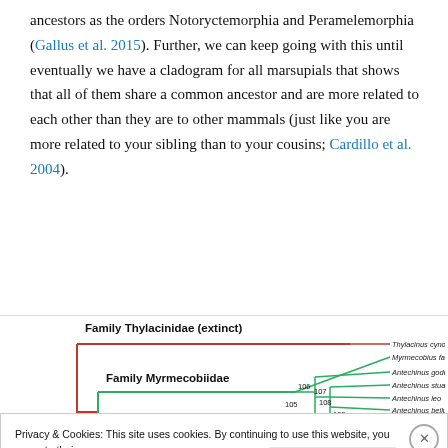ancestors as the orders Notoryctemorphia and Peramelemorphia (Gallus et al. 2015). Further, we can keep going with this until eventually we have a cladogram for all marsupials that shows that all of them share a common ancestor and are more related to each other than they are to other mammals (just like you are more related to your sibling than to your cousins; Cardillo et al. 2004).
[Figure (other): Partial phylogenetic cladogram showing Family Thylacinidae (extinct) and Family Myrmecobiidae with several Antechinus species. Tree branches in red and green with bootstrap support values (99, 104, 105, 106, 107, 108, 109, 110). Species listed: Thylacinus cynocephalus, Myrmecobius fasciatus, Antechinus godmani, Antechinus stuartii, Antechinus leo, Antechinus bellus, Antechinus flavipes, Antechinus minimus, Antechinus swansonii.]
Privacy & Cookies: This site uses cookies. By continuing to use this website, you agree to their use.
To find out more, including how to control cookies, see here: Cookie Policy